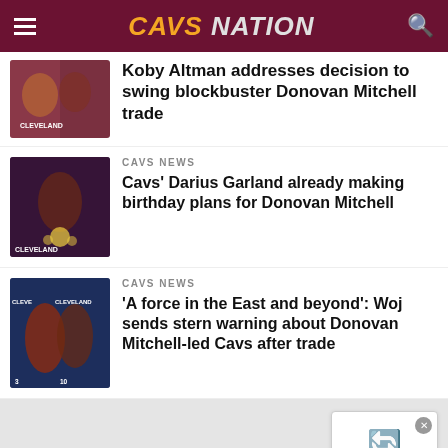CAVS NATION
[Figure (photo): Thumbnail image for Koby Altman Donovan Mitchell trade article]
Koby Altman addresses decision to swing blockbuster Donovan Mitchell trade
CAVS NEWS
[Figure (photo): Thumbnail image for Darius Garland birthday plans Donovan Mitchell article]
Cavs' Darius Garland already making birthday plans for Donovan Mitchell
CAVS NEWS
[Figure (photo): Thumbnail image for Woj sends warning about Donovan Mitchell-led Cavs article]
'A force in the East and beyond': Woj sends stern warning about Donovan Mitchell-led Cavs after trade